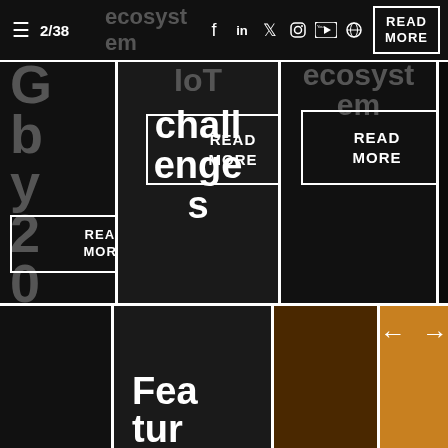≡  2/38  ecosyst em  READ MORE
G b y 2 0 2 5
IoT challenges
READ MORE
READ MORE
READ MORE
Fea tur
← →